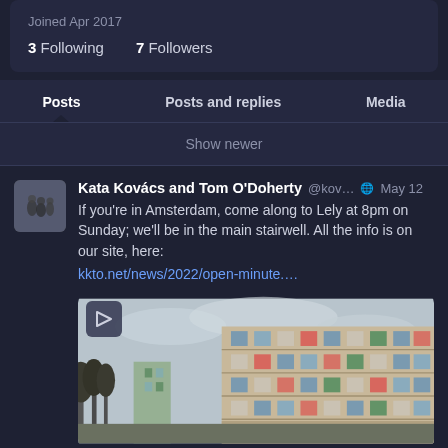Joined Apr 2017
3 Following   7 Followers
Posts | Posts and replies | Media
Show newer
Kata Kovács and Tom O'Doherty @kov... May 12
If you're in Amsterdam, come along to Lely at 8pm on Sunday; we'll be in the main stairwell. All the info is on our site, here: kkto.net/news/2022/open-minute....
[Figure (photo): Exterior photo of a multi-storey brutalist building with coloured window panels, against an overcast sky, with bare trees visible to the left.]